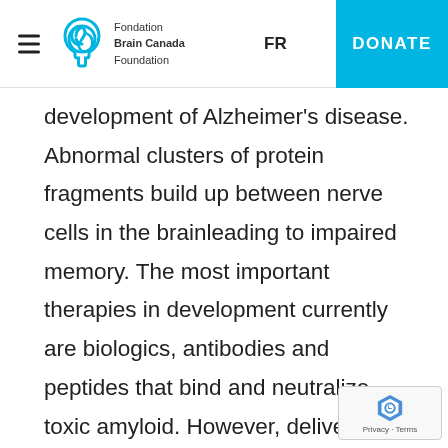Fondation Brain Canada Foundation — FR — DONATE
development of Alzheimer's disease. Abnormal clusters of protein fragments build up between nerve cells in the brainleading to impaired memory. The most important therapies in development currently are biologics, antibodies and peptides that bind and neutralize toxic amyloid. However, delivering sufficient quantities of a safe and effective amyloid-targeting biologic across the blood-brain barrier in humans has not yet been possible. KalGene Pharmaceuticals is developing an Alzheimer's disease therapy based on a naturally-occurring